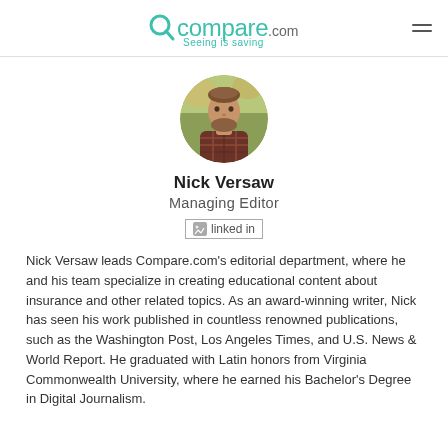Compare.com — Seeing is saving
[Figure (photo): Circular headshot photo of Nick Versaw, a man with a beard, wearing a plaid shirt, outdoors with blurred greenery in background]
Nick Versaw
Managing Editor
[Figure (logo): LinkedIn icon with text 'linked in' in a bordered box]
Nick Versaw leads Compare.com's editorial department, where he and his team specialize in creating educational content about insurance and other related topics. As an award-winning writer, Nick has seen his work published in countless renowned publications, such as the Washington Post, Los Angeles Times, and U.S. News & World Report. He graduated with Latin honors from Virginia Commonwealth University, where he earned his Bachelor's Degree in Digital Journalism.